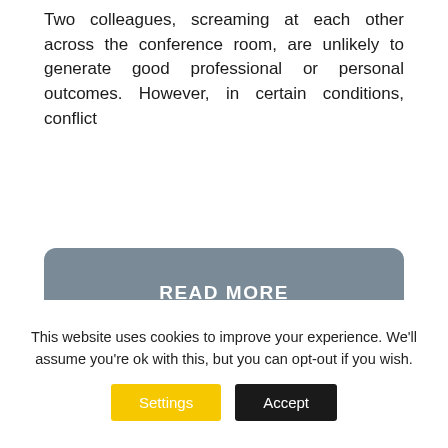Two colleagues, screaming at each other across the conference room, are unlikely to generate good professional or personal outcomes. However, in certain conditions, conflict
READ MORE
[Figure (photo): Photo of several people clinking wine glasses together at a table]
This website uses cookies to improve your experience. We'll assume you're ok with this, but you can opt-out if you wish.
Settings
Accept